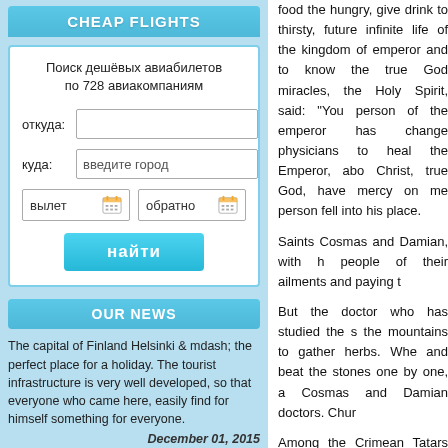CHEAP FLIGHTS
Поиск дешёвых авиабилетов по 728 авиакомпаниям
откуда: [input] куда: введите город вылет [calendar] обратно [calendar]
найти
OUR NEWS
The capital of Finland Helsinki & mdash; the perfect place for a holiday. The tourist infrastructure is very well developed, so that everyone who came here, easily find for himself something for everyone.
December 01, 2015
The wedding is probably the most important celebration in the life of man. A wonderful place for a lot of weddings &
food the hungry, give drink to thirsty, future infinite life of the kingdom of emperor and to know the true God miracles, the Holy Spirit, said: "You person of the emperor has change physicians to heal the Emperor, abo Christ, true God, have mercy on me person fell into his place.
Saints Cosmas and Damian, with h people of their ailments and paying t
But the doctor who has studied the s the mountains to gather herbs. Whe and beat the stones one by one, a Cosmas and Damian doctors. Chur
Among the Crimean Tatars there wa two of the same beech trees, simila the hill to the trees that served, in th
documentary evidence on the prese in the last years of life lived at the f their deaths, the local Tatar, who ha For the unfortunate women who di